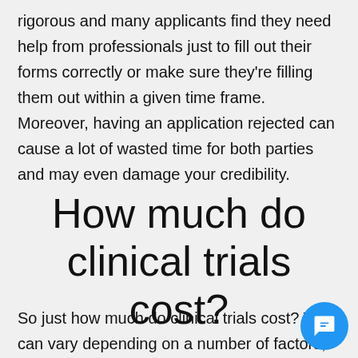rigorous and many applicants find they need help from professionals just to fill out their forms correctly or make sure they’re filling them out within a given time frame. Moreover, having an application rejected can cause a lot of wasted time for both parties and may even damage your credibility.
How much do clinical trials cost?
So just how much do clinical trials cost? This can vary depending on a number of factors, but it’s important to get quotes from multiple